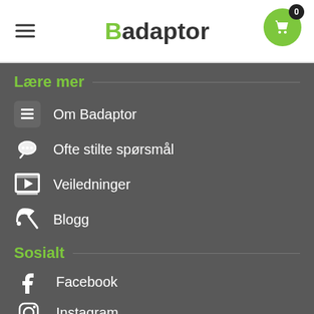Badaptor
Lære mer
Om Badaptor
Ofte stilte spørsmål
Veiledninger
Blogg
Sosialt
Facebook
Instagram
Twitter